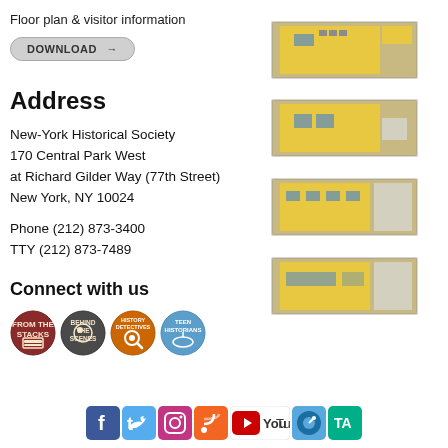Floor plan & visitor information
DOWNLOAD →
Address
New-York Historical Society
170 Central Park West
at Richard Gilder Way (77th Street)
New York, NY 10024
Phone (212) 873-3400
TTY (212) 873-7489
[Figure (illustration): Four stacked floor plan diagrams of New-York Historical Society building, shown in isometric/perspective view with yellow, gray, and blue color coding]
Connect with us
[Figure (illustration): Four circular blog/program icons: From the Stacks, Behind the Scenes, History Detectives, Teen Historians]
[Figure (illustration): Social media icons row: Facebook, Twitter, Instagram, RSS, YouTube, iTunes, TripAdvisor]